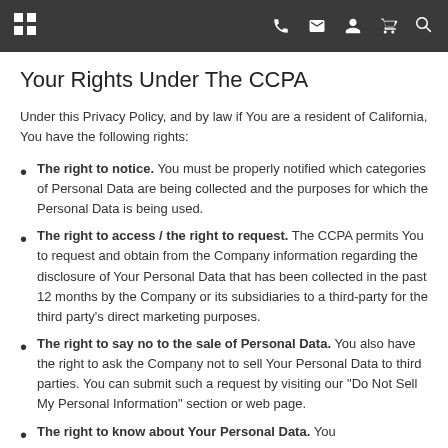[Navigation bar with grid, phone, email, user, cart, search icons]
Your Rights Under The CCPA
Under this Privacy Policy, and by law if You are a resident of California, You have the following rights:
The right to notice. You must be properly notified which categories of Personal Data are being collected and the purposes for which the Personal Data is being used.
The right to access / the right to request. The CCPA permits You to request and obtain from the Company information regarding the disclosure of Your Personal Data that has been collected in the past 12 months by the Company or its subsidiaries to a third-party for the third party's direct marketing purposes.
The right to say no to the sale of Personal Data. You also have the right to ask the Company not to sell Your Personal Data to third parties. You can submit such a request by visiting our "Do Not Sell My Personal Information" section or web page.
The right to know about Your Personal Data. You